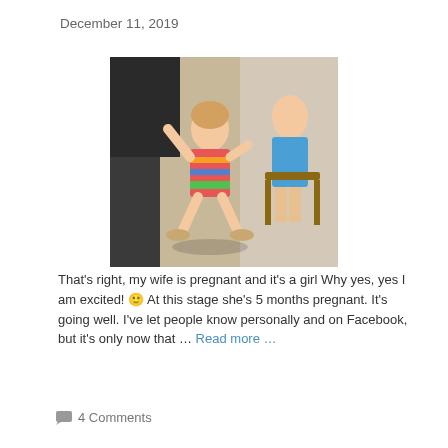December 11, 2019
[Figure (photo): A young toddler girl dancing/posing with arms up in a colorful striped outfit, with another child seated in the background indoors.]
That's right, my wife is pregnant and it's a girl Why yes, yes I am excited! 🙂 At this stage she's 5 months pregnant. It's going well. I've let people know personally and on Facebook, but it's only now that … Read more …
💬 4 Comments